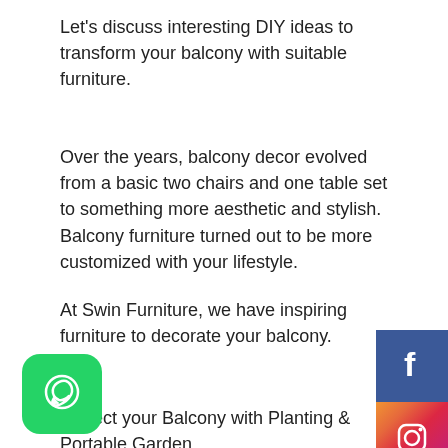Let's discuss interesting DIY ideas to transform your balcony with suitable furniture.
Over the years, balcony decor evolved from a basic two chairs and one table set to something more aesthetic and stylish. Balcony furniture turned out to be more customized with your lifestyle.
At Swin Furniture, we have inspiring furniture to decorate your balcony.
Perfect your Balcony with Planting & Portable Garden
ng is always the best thing to bring in life to the balcony. an consider portable garden options that can give you
[Figure (infographic): Facebook social media button - blue square with white F logo]
[Figure (infographic): Instagram social media button - pink/red gradient square with white camera logo]
[Figure (logo): WhatsApp icon - green rounded square with white phone/chat logo]